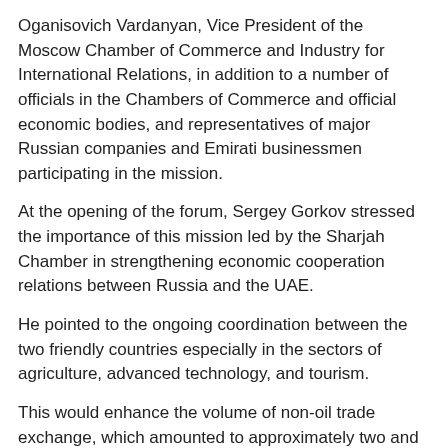Oganisovich Vardanyan, Vice President of the Moscow Chamber of Commerce and Industry for International Relations, in addition to a number of officials in the Chambers of Commerce and official economic bodies, and representatives of major Russian companies and Emirati businessmen participating in the mission.
At the opening of the forum, Sergey Gorkov stressed the importance of this mission led by the Sharjah Chamber in strengthening economic cooperation relations between Russia and the UAE.
He pointed to the ongoing coordination between the two friendly countries especially in the sectors of agriculture, advanced technology, and tourism.
This would enhance the volume of non-oil trade exchange, which amounted to approximately two and a half billion dollars at the end of 2020, he noted.
Gorkov commended the efforts exerted by the Sharjah Chamber in organizing this forum which is an important